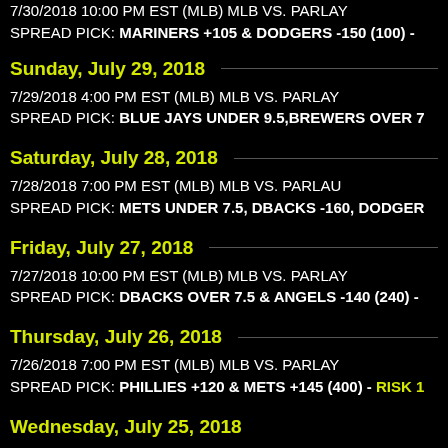7/30/2018 10:00 PM EST (MLB) MLB VS. PARLAY
SPREAD PICK: MARINERS +105 & DODGERS -150 (100) -
Sunday, July 29, 2018
7/29/2018 4:00 PM EST (MLB) MLB VS. PARLAY
SPREAD PICK: BLUE JAYS UNDER 9.5,BREWERS OVER 7
Saturday, July 28, 2018
7/28/2018 7:00 PM EST (MLB) MLB VS. PARLAU
SPREAD PICK: METS UNDER 7.5, DBACKS -160, DODGER
Friday, July 27, 2018
7/27/2018 10:00 PM EST (MLB) MLB VS. PARLAY
SPREAD PICK: DBACKS OVER 7.5 & ANGELS -140 (240) -
Thursday, July 26, 2018
7/26/2018 7:00 PM EST (MLB) MLB VS. PARLAY
SPREAD PICK: PHILLIES +120 & METS +145 (400) - RISK 1
Wednesday, July 25, 2018